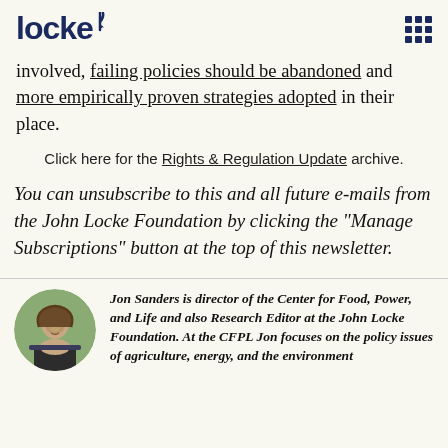locke
involved, failing policies should be abandoned and more empirically proven strategies adopted in their place.
Click here for the Rights & Regulation Update archive.
You can unsubscribe to this and all future e-mails from the John Locke Foundation by clicking the "Manage Subscriptions" button at the top of this newsletter.
Jon Sanders is director of the Center for Food, Power, and Life and also Research Editor at the John Locke Foundation. At the CFPL Jon focuses on the policy issues of agriculture, energy, and the environment